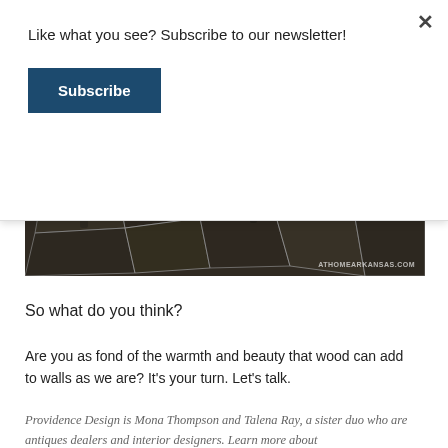Like what you see? Subscribe to our newsletter!
Subscribe
[Figure (photo): Close-up photograph of a dark stone tile floor with white grout lines and chair legs visible, branded with ATHOMEARKANSAS.COM watermark]
So what do you think?
Are you as fond of the warmth and beauty that wood can add to walls as we are? It's your turn.  Let's talk.
Providence Design is Mona Thompson and Talena Ray, a sister duo who are antiques dealers and interior designers. Learn more about